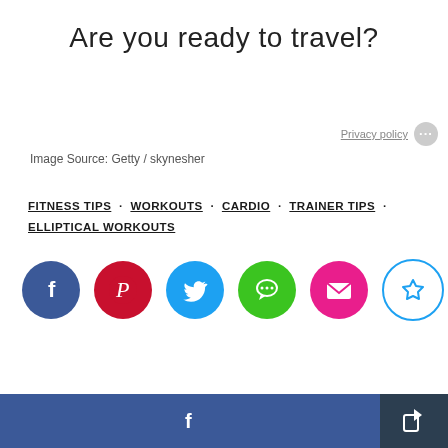Are you ready to travel?
Privacy policy
Image Source: Getty / skynesher
FITNESS TIPS · WORKOUTS · CARDIO · TRAINER TIPS · ELLIPTICAL WORKOUTS
[Figure (infographic): Social sharing icons row: Facebook (dark blue circle with f), Pinterest (red circle with P), Twitter (cyan circle with bird), Messaging (green circle with chat bubble), Email (pink circle with envelope), Save/bookmark (white circle with star outline)]
[Figure (infographic): Footer bar: large Facebook share button (dark blue with f icon) and a smaller dark share/export button on the right]